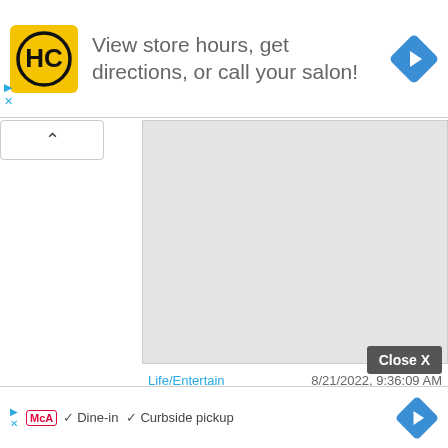[Figure (screenshot): Top ad banner for HC salon with yellow logo, text 'View store hours, get directions, or call your salon!' and blue diamond navigation icon]
[Figure (screenshot): Gray placeholder content area panel]
Life/Entertain    8/21/2022, 9:36:09 AM
Ibaraki Hokota A man in his 50s who tried to save a young man at sea Drowned and unconscious
[Figure (screenshot): Bottom ad banner with MCA logo, Dine-in checkmark, Curbside pickup checkmark, and blue diamond navigation icon]